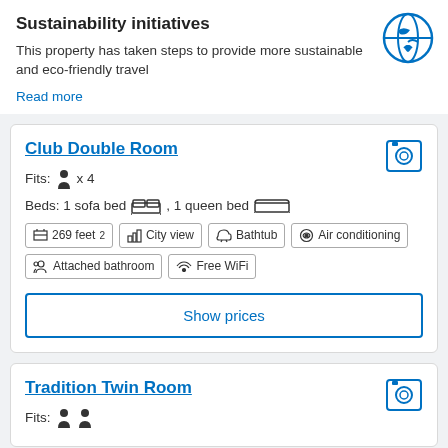Sustainability initiatives
This property has taken steps to provide more sustainable and eco-friendly travel
Read more
Club Double Room
Fits: x 4
Beds: 1 sofa bed , 1 queen bed
269 feet²
City view
Bathtub
Air conditioning
Attached bathroom
Free WiFi
Show prices
Tradition Twin Room
Fits: